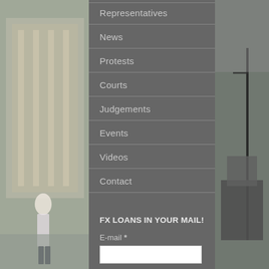[Figure (photo): Left side: outdoor photo of a building with classical architecture and a woman walking. Right side: outdoor photo with a tall pole/boom and dark sculpture or monument.]
Representatives
News
Protests
Courts
Judgements
Events
Videos
Contact
FX LOANS IN YOUR MAIL!
E-mail *